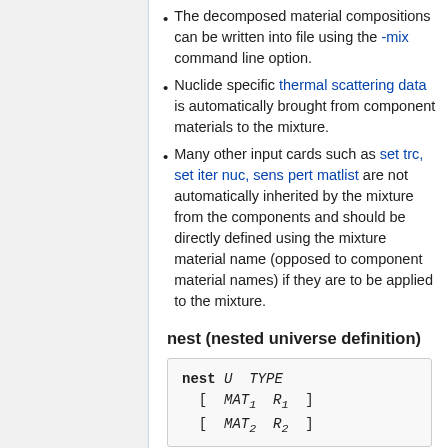The decomposed material compositions can be written into file using the -mix command line option.
Nuclide specific thermal scattering data is automatically brought from component materials to the mixture.
Many other input cards such as set trc, set iter nuc, sens pert matlist are not automatically inherited by the mixture from the components and should be directly defined using the mixture material name (opposed to component material names) if they are to be applied to the mixture.
nest (nested universe definition)